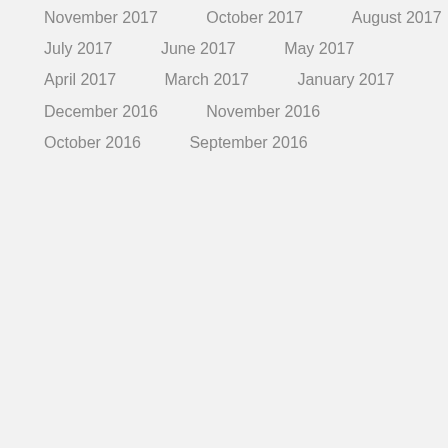November 2017
October 2017
August 2017
July 2017
June 2017
May 2017
April 2017
March 2017
January 2017
December 2016
November 2016
October 2016
September 2016